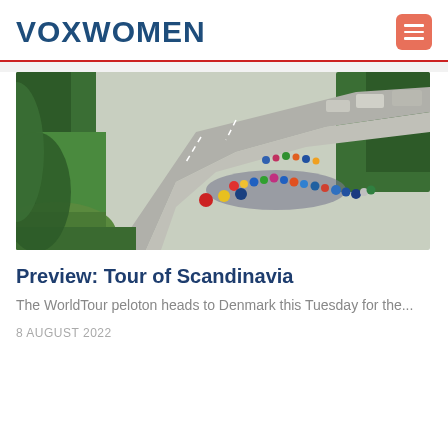VOXWOMEN
[Figure (photo): A cycling peloton riding along a winding road through green trees, with support vehicles following behind. Cyclists in colorful jerseys spread across the road.]
Preview: Tour of Scandinavia
The WorldTour peloton heads to Denmark this Tuesday for the...
8 AUGUST 2022